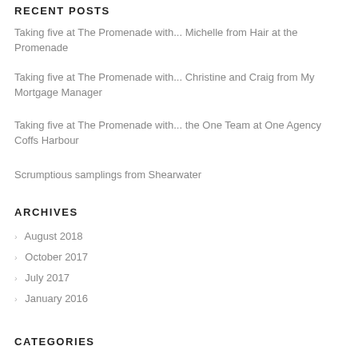RECENT POSTS
Taking five at The Promenade with... Michelle from Hair at the Promenade
Taking five at The Promenade with... Christine and Craig from My Mortgage Manager
Taking five at The Promenade with... the One Team at One Agency Coffs Harbour
Scrumptious samplings from Shearwater
ARCHIVES
August 2018
October 2017
July 2017
January 2016
CATEGORIES